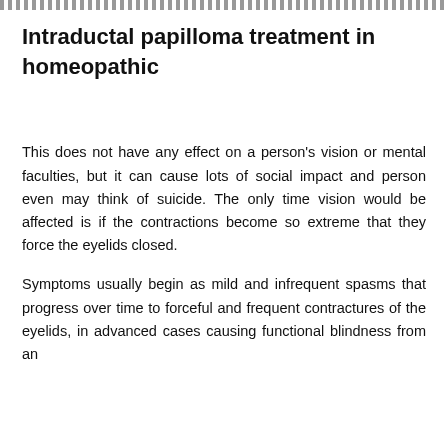Intraductal papilloma treatment in homeopathic
This does not have any effect on a person's vision or mental faculties, but it can cause lots of social impact and person even may think of suicide. The only time vision would be affected is if the contractions become so extreme that they force the eyelids closed.
Symptoms usually begin as mild and infrequent spasms that progress over time to forceful and frequent contractures of the eyelids, in advanced cases causing functional blindness from an